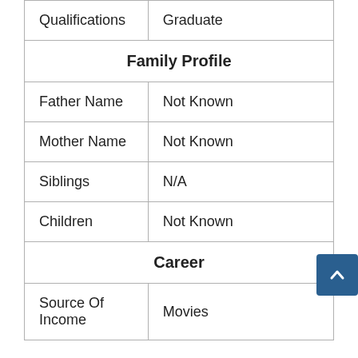| Qualifications | Graduate |
| Family Profile |  |
| Father Name | Not Known |
| Mother Name | Not Known |
| Siblings | N/A |
| Children | Not Known |
| Career |  |
| Source Of Income | Movies |